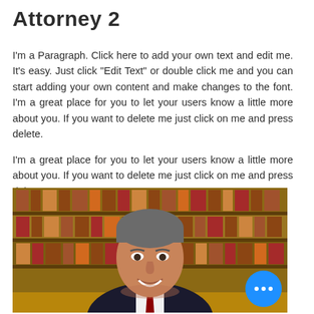Attorney 2
I'm a Paragraph. Click here to add your own text and edit me. It's easy. Just click "Edit Text" or double click me and you can start adding your own content and make changes to the font. I'm a great place for you to let your users know a little more about you. If you want to delete me just click on me and press delete.
I'm a great place for you to let your users know a little more about you. If you want to delete me just click on me and press delete.
[Figure (photo): Professional headshot of a middle-aged male attorney in a dark suit and red tie, smiling, with a background of law books on shelves.]